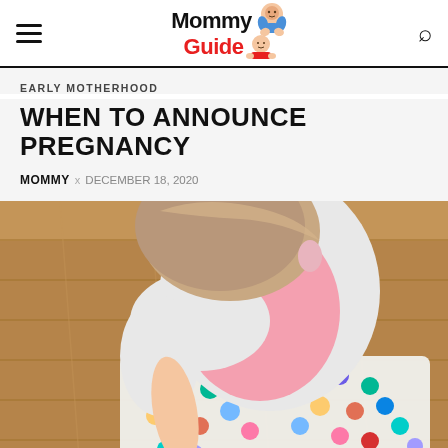Mommy Guide
EARLY MOTHERHOOD
WHEN TO ANNOUNCE PREGNANCY
MOMMY x DECEMBER 18, 2020
[Figure (photo): Overhead view of a toddler in a white long-sleeve shirt and pink top, leaning over a white tray filled with colorful pom-poms or clay balls on a wooden floor.]